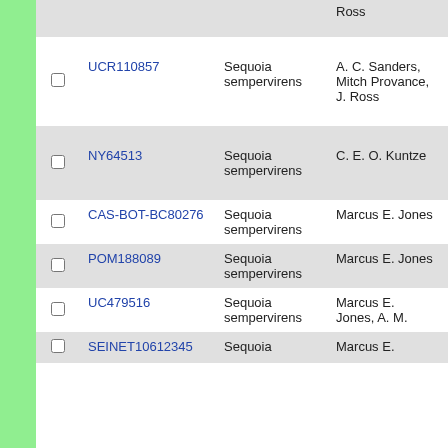|  | ID | Species | Collector | Date |  |
| --- | --- | --- | --- | --- | --- |
|  |  |  | Ross |  |  |
| ☐ | UCR110857 | Sequoia sempervirens | A. C. Sanders, Mitch Provance, J. Ross | 1998-12-23 | 2... |
| ☐ | NY64513 | Sequoia sempervirens | C. E. O. Kuntze | 07 1904 | 2... |
| ☐ | CAS-BOT-BC80276 | Sequoia sempervirens | Marcus E. Jones | 1931-7-6 | 29... |
| ☐ | POM188089 | Sequoia sempervirens | Marcus E. Jones | 1931-7-6 | 29... |
| ☐ | UC479516 | Sequoia sempervirens | Marcus E. Jones, A. M. | 1931-7-6 | 29... |
| ☐ | SEINET10612345 | Sequoia | Marcus E. | 1931-7-6 |  |